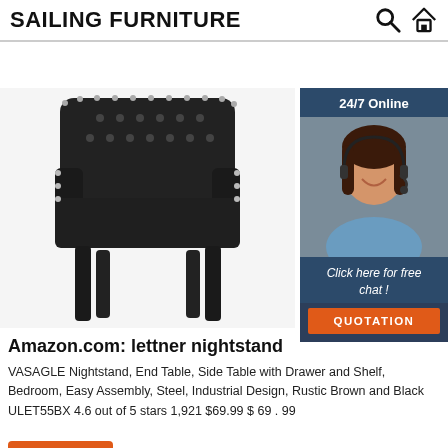SAILING FURNITURE
[Figure (photo): Black tufted accent chair with nailhead trim and dark wood legs, cropped view showing seat and legs]
[Figure (infographic): 24/7 Online chat widget showing a woman with a headset smiling, with text 'Click here for free chat!' and an orange QUOTATION button]
Amazon.com: lettner nightstand
VASAGLE Nightstand, End Table, Side Table with Drawer and Shelf, Bedroom, Easy Assembly, Steel, Industrial Design, Rustic Brown and Black ULET55BX 4.6 out of 5 stars 1,921 $69.99 $ 69 . 99
Get Price